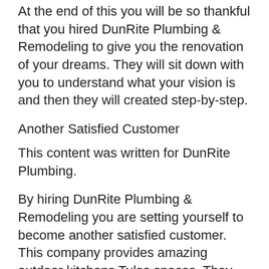At the end of this you will be so thankful that you hired DunRite Plumbing & Remodeling to give you the renovation of your dreams. They will sit down with you to understand what your vision is and then they will created step-by-step.
Another Satisfied Customer
This content was written for DunRite Plumbing.
By hiring DunRite Plumbing & Remodeling you are setting yourself to become another satisfied customer. This company provides amazing outdoor kitchens Tulsa spaces. They also provide numerous other amazing home renovation services such as kitchens, bonus rooms, dining rooms, living rooms, outdoor kitchens, outdoor living spaces, patios, decks, craft rooms, and so much more. If you have need for renovation they are certainly the company you should call. Their number is 918-258-6796. They would love to get you a quote to provide you with an amazing renovation service. All of the product that they provide is done to